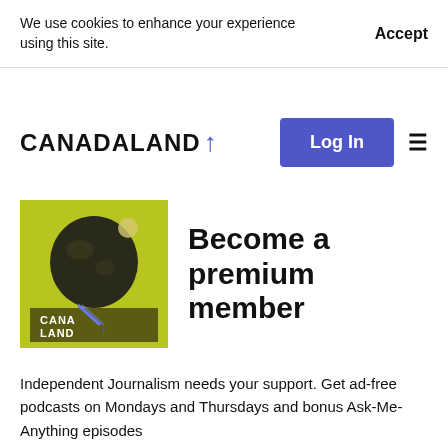We use cookies to enhance your experience using this site.
Accept
[Figure (logo): CANADALAND logo with upward arrow in blue]
Log In
Become a premium member
Independent Journalism needs your support. Get ad-free podcasts on Mondays and Thursdays and bonus Ask-Me-Anything episodes
This podcast is from CANADALAND's premium podcast